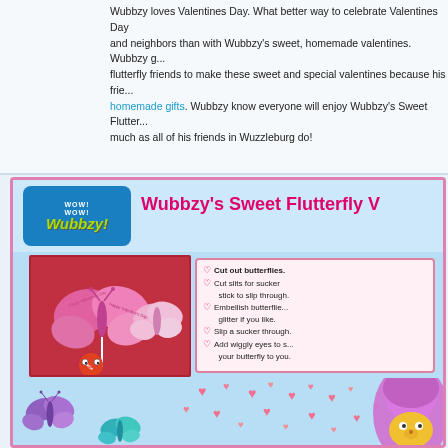Wubbzy loves Valentines Day. What better way to celebrate Valentines Day and neighbors than with Wubbzy's sweet, homemade valentines. Wubbzy gets his flutterfly friends to make these sweet and special valentines because his friends love homemade gifts. Wubbzy know everyone will enjoy Wubbzy's Sweet Flutterfly V... much as all of his friends in Wuzzleburg do!
[Figure (illustration): Wubbzy's Sweet Flutterfly Valentine craft page showing Wubbzy logo, title banner, photo of butterfly-shaped lollipop valentines on red background, instructions list, cartoon butterflies, pink hearts, and Wubbzy character]